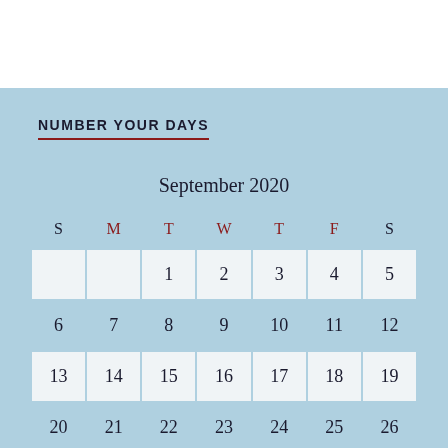NUMBER YOUR DAYS
September 2020
| S | M | T | W | T | F | S |
| --- | --- | --- | --- | --- | --- | --- |
|  |  | 1 | 2 | 3 | 4 | 5 |
| 6 | 7 | 8 | 9 | 10 | 11 | 12 |
| 13 | 14 | 15 | 16 | 17 | 18 | 19 |
| 20 | 21 | 22 | 23 | 24 | 25 | 26 |